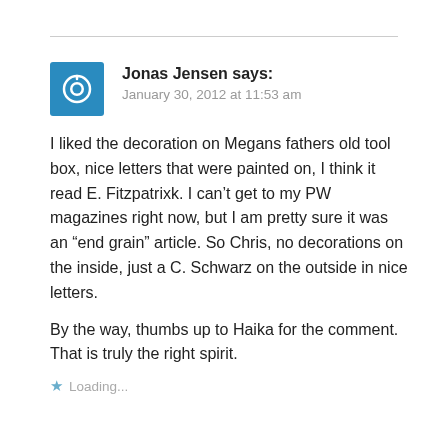Jonas Jensen says:
January 30, 2012 at 11:53 am
I liked the decoration on Megans fathers old tool box, nice letters that were painted on, I think it read E. Fitzpatrixk. I can't get to my PW magazines right now, but I am pretty sure it was an “end grain” article. So Chris, no decorations on the inside, just a C. Schwarz on the outside in nice letters.
By the way, thumbs up to Haika for the comment. That is truly the right spirit.
Loading...